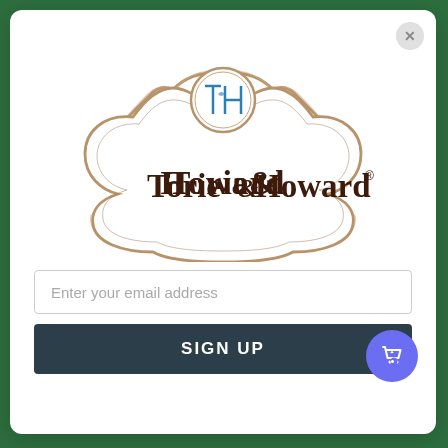[Figure (logo): Torie & Howard brand logo with ornate frame and TH monogram in a circle at top]
Enter your email address
SIGN UP